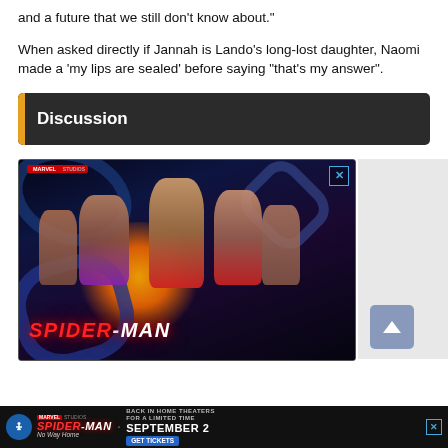and a future that we still don't know about."
When asked directly if Jannah is Lando's long-lost daughter, Naomi made a 'my lips are sealed' before saying "that's my answer".
Discussion
[Figure (photo): Spider-Man: No Way Home movie promotional advertisement image showing multiple Marvel characters against a cosmic background with the Spider-Man logo]
[Figure (photo): Spider-Man: No Way Home bottom banner advertisement with text 'BACK IN HOME THEATERS FOR A LIMITED TIME SEPTEMBER 2 GET TICKETS']